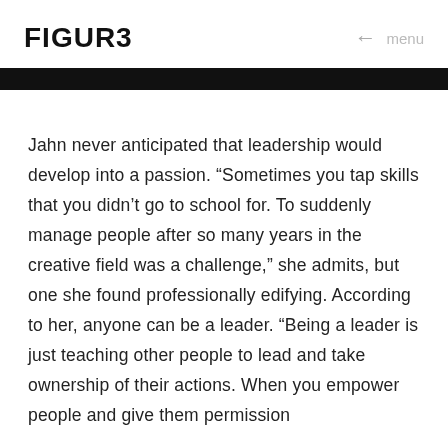FIGUR3
Jahn never anticipated that leadership would develop into a passion. “Sometimes you tap skills that you didn’t go to school for. To suddenly manage people after so many years in the creative field was a challenge,” she admits, but one she found professionally edifying. According to her, anyone can be a leader. “Being a leader is just teaching other people to lead and take ownership of their actions. When you empower people and give them permission